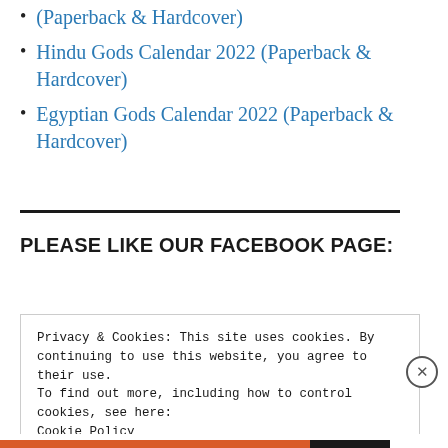(Paperback & Hardcover)
Hindu Gods Calendar 2022 (Paperback & Hardcover)
Egyptian Gods Calendar 2022 (Paperback & Hardcover)
PLEASE LIKE OUR FACEBOOK PAGE:
Privacy & Cookies: This site uses cookies. By continuing to use this website, you agree to their use.
To find out more, including how to control cookies, see here:
Cookie Policy
Close and accept